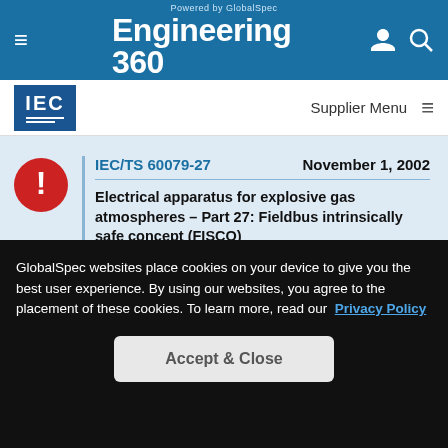Powered by GlobalSpec — Engineering 360
[Figure (logo): IEC logo — blue square with IEC text and horizontal lines]
Supplier Menu
IEC/TS 60079-27 — November 1, 2002
Electrical apparatus for explosive gas atmospheres – Part 27: Fieldbus intrinsically safe concept (FISCO)
This part of IEC 60079, which is a technical specification, contains the details of apparatus, systems and installation practice for use with the Fieldbus intrinsically safe concept (FISCO)
GlobalSpec websites place cookies on your device to give you the best user experience. By using our websites, you agree to the placement of these cookies. To learn more, read our Privacy Policy
Accept & Close